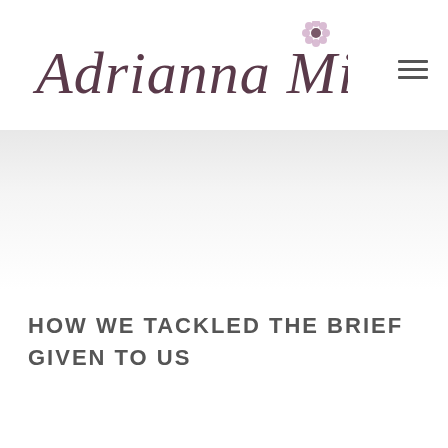[Figure (logo): Adrianna Milani brand logo in cursive/italic script with a decorative flower emblem, in dark mauve/purple tones]
[Figure (other): Hamburger menu icon (three horizontal lines) in dark gray, positioned top right]
[Figure (other): Light gray gradient banner/hero area]
HOW WE TACKLED THE BRIEF GIVEN TO US